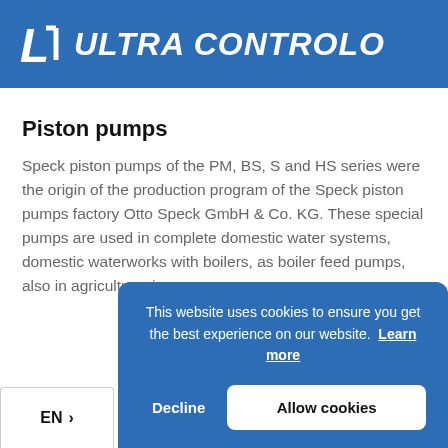Ultra Controlo
Piston pumps
Speck piston pumps of the PM, BS, S and HS series were the origin of the production program of the Speck piston pumps factory Otto Speck GmbH & Co. KG. These special pumps are used in complete domestic water systems, domestic waterworks with boilers, as boiler feed pumps, also in agriculture, in
This website uses cookies to ensure you get the best experience on our website. Learn more
Decline
Allow cookies
EN >